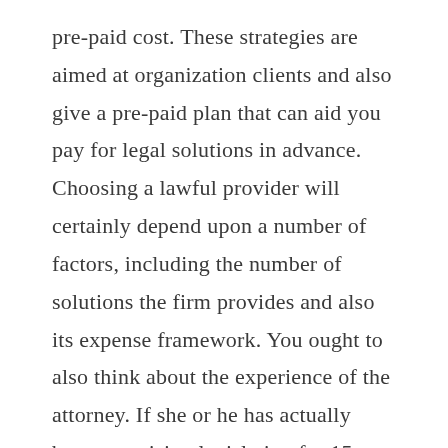pre-paid cost. These strategies are aimed at organization clients and also give a pre-paid plan that can aid you pay for legal solutions in advance. Choosing a lawful provider will certainly depend upon a number of factors, including the number of solutions the firm provides and also its expense framework. You ought to also think about the experience of the attorney. If she or he has actually been exercising legislation for 15 years or more, after that she or he is likely to be an excellent option for your organization. Choosing a pre-paid strategy may likewise be a good idea, as you'll be able to see whether the attorney will be an